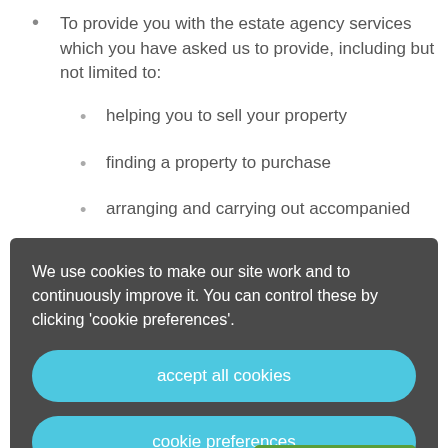To provide you with the estate agency services which you have asked us to provide, including but not limited to:
helping you to sell your property
finding a property to purchase
arranging and carrying out accompanied
We use cookies to make our site work and to continuously improve it. You can control these by clicking 'cookie preferences'.
accept all cookies
cookie preferences
book a free valuation
To provide advice on financial products and